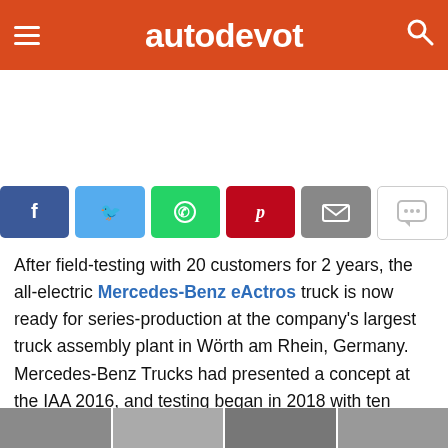autodevot
[Figure (other): Social share buttons: Facebook, Twitter, WhatsApp, Pinterest, Email, Comment]
After field-testing with 20 customers for 2 years, the all-electric Mercedes-Benz eActros truck is now ready for series-production at the company's largest truck assembly plant in Wörth am Rhein, Germany. Mercedes-Benz Trucks had presented a concept at the IAA 2016, and testing began in 2018 with ten eActros prototypes dubbed as "eActros Innovation Fleet", with customers in Germany and other European countries.
[Figure (photo): Partial bottom image strip showing vehicle photos]